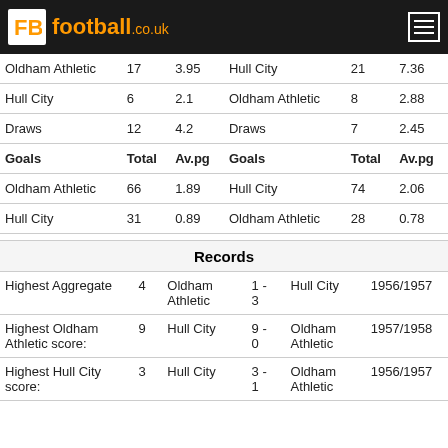FB football.co.uk
|  | Total | Av.pg |  | Total | Av.pg |
| --- | --- | --- | --- | --- | --- |
| Oldham Athletic | 17 | 3.95 | Hull City | 21 | 7.36 |
| Hull City | 6 | 2.1 | Oldham Athletic | 8 | 2.88 |
| Draws | 12 | 4.2 | Draws | 7 | 2.45 |
| Goals | Total | Av.pg | Goals | Total | Av.pg |
| Oldham Athletic | 66 | 1.89 | Hull City | 74 | 2.06 |
| Hull City | 31 | 0.89 | Oldham Athletic | 28 | 0.78 |
Records
|  |  |  |  |  |  |
| --- | --- | --- | --- | --- | --- |
| Highest Aggregate | 4 | Oldham Athletic | 1 - 3 | Hull City | 1956/1957 |
| Highest Oldham Athletic score: | 9 | Hull City | 9 - 0 | Oldham Athletic | 1957/1958 |
| Highest Hull City score: | 3 | Hull City | 3 - 1 | Oldham Athletic | 1956/1957 |